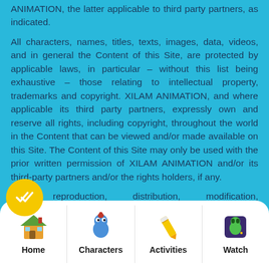ANIMATION, the latter applicable to third party partners, as indicated.
All characters, names, titles, texts, images, data, videos, and in general the Content of this Site, are protected by applicable laws, in particular – without this list being exhaustive – those relating to intellectual property, trademarks and copyright. XILAM ANIMATION, and where applicable its third party partners, expressly own and reserve all rights, including copyright, throughout the world in the Content that can be viewed and/or made available on this Site. The Content of this Site may only be used with the prior written permission of XILAM ANIMATION and/or its third-party partners and/or the rights holders, if any.
reproduction, distribution, modification, adaptation, retransmission or publication of the Content, even in part, would violate applicable laws on intellectual
[Figure (other): Yellow circular badge with double white checkmark icon]
[Figure (other): Bottom navigation bar with Home (house icon), Characters (blue character icon), Activities (pencil icon), Watch (green alien icon on dark background)]